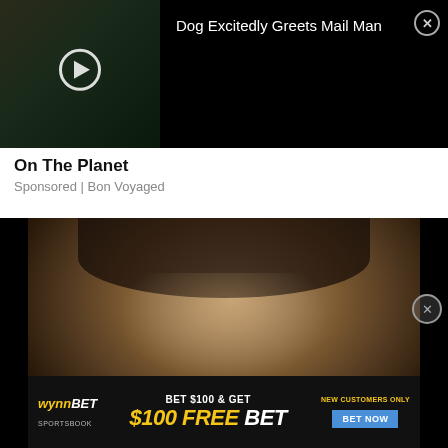[Figure (screenshot): Dark video thumbnail with play button showing outdoor scene]
Dog Excitedly Greets Mail Man
On The Planet
Sponsored | Bon Voyaged
[Figure (photo): Headshot of dark-haired man in black shirt against blurred background]
[Figure (infographic): WynnBET sportsbook advertisement banner: BET $100 & GET $100 FREE BET, NEW CUSTOMERS ONLY, BET NOW button]